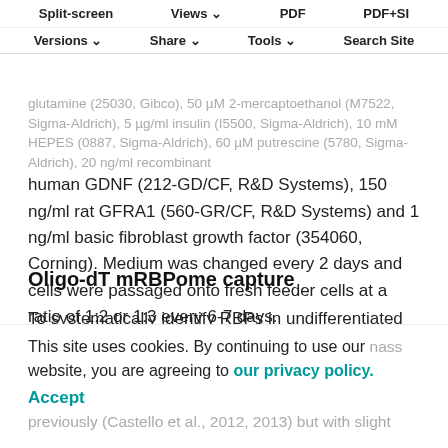Split-screen  Views  PDF  PDF+SI  Versions  Share  Tools  Search Site
glutamine (25030, Gibco), 50 µM 2-mercaptoethanol (M7522, Sigma-Aldrich), 5 µg/ml insulin (I5500, Sigma-Aldrich), 10 mM HEPES (0887, Sigma-Aldrich), 60 µM putrescine (5780, Sigma-Aldrich), 20 ng/ml recombinant human GDNF (212-GD/CF, R&D Systems), 150 ng/ml rat GFRA1 (560-GR/CF, R&D Systems) and 1 ng/ml basic fibroblast growth factor (354060, Corning). Medium was changed every 2 days and cells were passaged onto fresh feeder cells at a ratio of 1:2 or 1:3 every 6-7 days.
Oligo-dT mRBPome capture
To systematically identify RBPs in undifferentiated spermatogonia, we performed mRNA interactome capture
This site uses cookies. By continuing to use our website, you are agreeing to our privacy policy. Accept
previously (Castello et al., 2012, 2013) but with slight